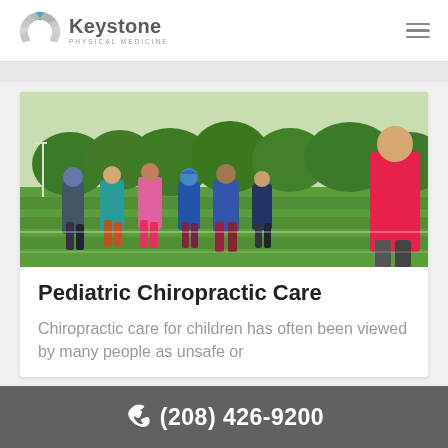Keystone Physical Medicine
[Figure (photo): Children in colorful jackets walking/running on a green sports field, viewed from behind, with trees and a goalpost in the background]
Pediatric Chiropractic Care
Chiropractic care for children has often been viewed by many people as unsafe or
(208) 426-9200